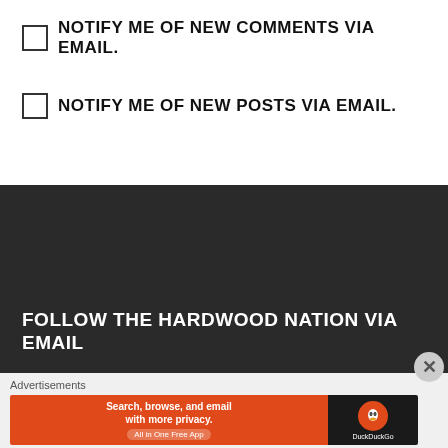NOTIFY ME OF NEW COMMENTS VIA EMAIL.
NOTIFY ME OF NEW POSTS VIA EMAIL.
FOLLOW THE HARDWOOD NATION VIA EMAIL
Advertisements
[Figure (screenshot): DuckDuckGo advertisement banner: orange section with text 'Search, browse, and email with more privacy. All in One Free App' and dark section with DuckDuckGo logo and name.]